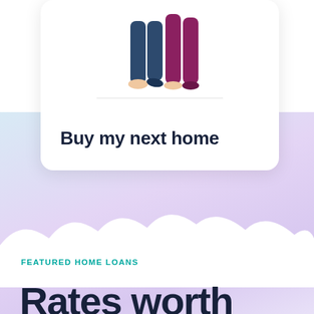[Figure (illustration): Partial view of illustrated people (legs visible) standing on a white card. Card shows a rounded white rectangle with 'Buy my next home' text. Background features a lavender/light purple gradient with cloud/snow shapes.]
Buy my next home
FEATURED HOME LOANS
Rates worth